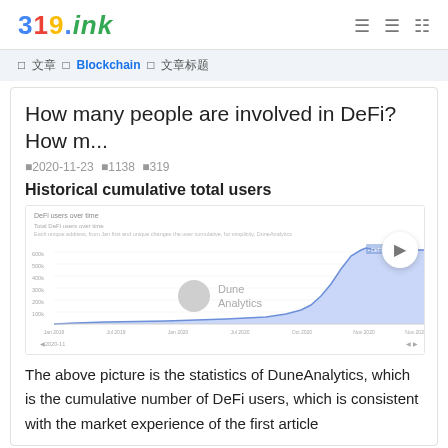319.ink
Blockchain
How many people are involved in DeFi? How m...
2020-11-23  1138  319
Historical cumulative total users
[Figure (area-chart): Cumulative DeFi users over time showing exponential growth, with Dune Analytics watermark. The curve rises sharply toward the right side of the chart.]
The above picture is the statistics of DuneAnalytics, which is the cumulative number of DeFi users, which is consistent with the market experience of the first article